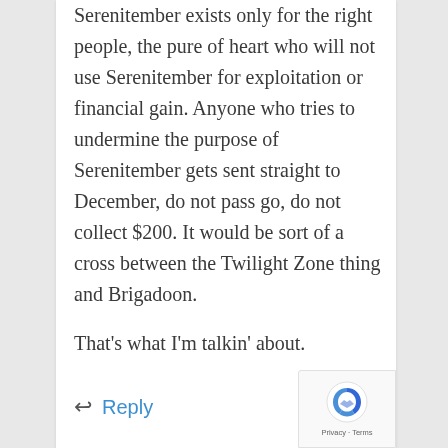Serenitember exists only for the right people, the pure of heart who will not use Serenitember for exploitation or financial gain. Anyone who tries to undermine the purpose of Serenitember gets sent straight to December, do not pass go, do not collect $200. It would be sort of a cross between the Twilight Zone thing and Brigadoon.
That's what I'm talkin' about.
↩ Reply